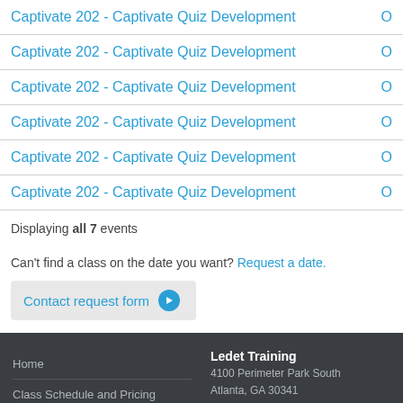Captivate 202 - Captivate Quiz Development | O
Captivate 202 - Captivate Quiz Development | O
Captivate 202 - Captivate Quiz Development | O
Captivate 202 - Captivate Quiz Development | O
Captivate 202 - Captivate Quiz Development | O
Captivate 202 - Captivate Quiz Development | O
Displaying all 7 events
Can't find a class on the date you want? Request a date.
Contact request form
Home
Class Schedule and Pricing
Training Course Catalog
Adobe training
Ledet Training
4100 Perimeter Park South
Atlanta, GA 30341

sales@ledet.com
administration@ledet.com
webmaster@ledet.com

P 770.414.5007
P 877.819.2665
F 770.414.5661